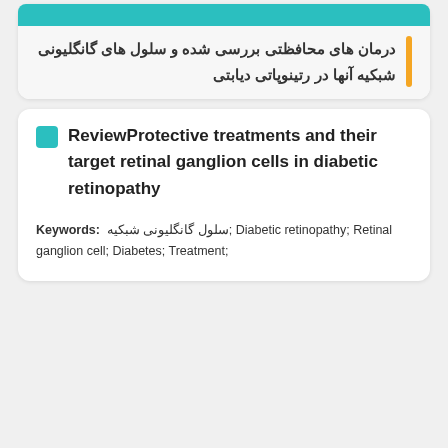درمان های محافظتی بررسی شده و سلول های گانگلیونی شبکیه آنها در رتینوپاتی دیابتی
ReviewProtective treatments and their target retinal ganglion cells in diabetic retinopathy
Keywords: سلول گانگلیونی شبکیه; Diabetic retinopathy; Retinal ganglion cell; Diabetes; Treatment;